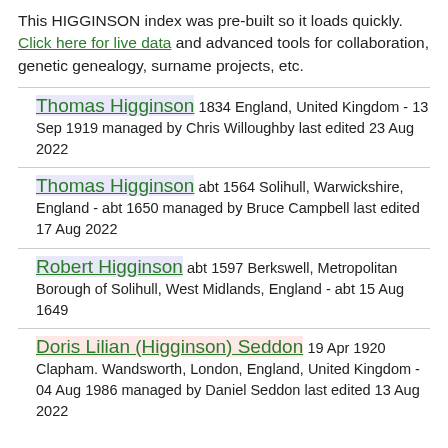This HIGGINSON index was pre-built so it loads quickly. Click here for live data and advanced tools for collaboration, genetic genealogy, surname projects, etc.
Thomas Higginson 1834 England, United Kingdom - 13 Sep 1919 managed by Chris Willoughby last edited 23 Aug 2022
Thomas Higginson abt 1564 Solihull, Warwickshire, England - abt 1650 managed by Bruce Campbell last edited 17 Aug 2022
Robert Higginson abt 1597 Berkswell, Metropolitan Borough of Solihull, West Midlands, England - abt 15 Aug 1649
Doris Lilian (Higginson) Seddon 19 Apr 1920 Clapham. Wandsworth, London, England, United Kingdom - 04 Aug 1986 managed by Daniel Seddon last edited 13 Aug 2022